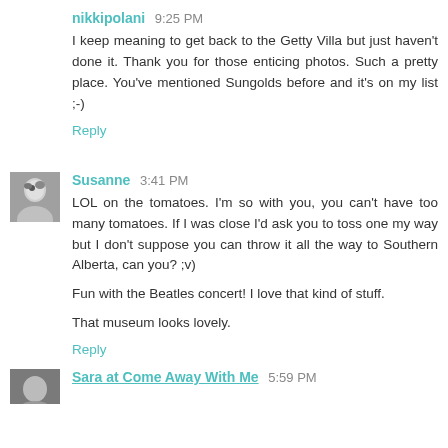nikkipolani 9:25 PM
I keep meaning to get back to the Getty Villa but just haven't done it. Thank you for those enticing photos. Such a pretty place. You've mentioned Sungolds before and it's on my list ;-)
Reply
Susanne 3:41 PM
LOL on the tomatoes. I'm so with you, you can't have too many tomatoes. If I was close I'd ask you to toss one my way but I don't suppose you can throw it all the way to Southern Alberta, can you? ;v)
Fun with the Beatles concert! I love that kind of stuff.
That museum looks lovely.
Reply
Sara at Come Away With Me 5:59 PM